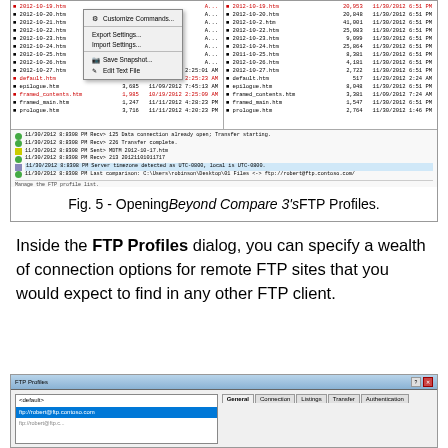[Figure (screenshot): Screenshot of Beyond Compare 3 FTP file listing with a context menu open showing options: Customize Commands, Export Settings, Import Settings, Save Snapshot, Edit Text File. Two panels show file listings with dates and sizes.]
Fig. 5 - Opening Beyond Compare 3's FTP Profiles.
Inside the FTP Profiles dialog, you can specify a wealth of connection options for remote FTP sites that you would expect to find in any other FTP client.
[Figure (screenshot): Screenshot of the FTP Profiles dialog in Beyond Compare 3, showing a list with <default> and ftp://robert@ftp.contoso.com entries, and tabs: General, Connection, Listings, Transfer, Authentication.]